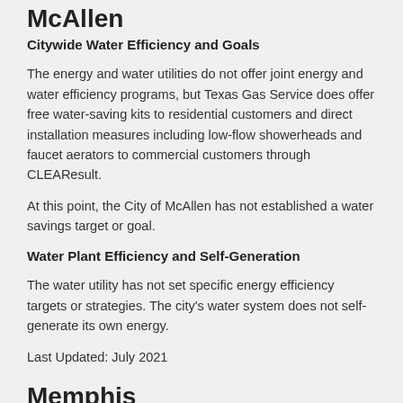McAllen
Citywide Water Efficiency and Goals
The energy and water utilities do not offer joint energy and water efficiency programs, but Texas Gas Service does offer free water-saving kits to residential customers and direct installation measures including low-flow showerheads and faucet aerators to commercial customers through CLEAResult.
At this point, the City of McAllen has not established a water savings target or goal.
Water Plant Efficiency and Self-Generation
The water utility has not set specific energy efficiency targets or strategies. The city's water system does not self-generate its own energy.
Last Updated: July 2021
Memphis
Citywide Water Efficiency and Goals
While the MLGW programs focus on energy efficiency, water